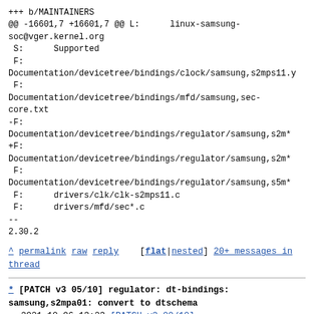+++ b/MAINTAINERS
@@ -16601,7 +16601,7 @@ L:      linux-samsung-soc@vger.kernel.org
 S:      Supported
 F:
Documentation/devicetree/bindings/clock/samsung,s2mps11.y
 F:
Documentation/devicetree/bindings/mfd/samsung,sec-core.txt
-F:
Documentation/devicetree/bindings/regulator/samsung,s2m*
+F:
Documentation/devicetree/bindings/regulator/samsung,s2m*
 F:
Documentation/devicetree/bindings/regulator/samsung,s5m*
 F:      drivers/clk/clk-s2mps11.c
 F:      drivers/mfd/sec*.c
--
2.30.2
^ permalink raw reply [flat|nested] 20+ messages in thread
* [PATCH v3 05/10] regulator: dt-bindings: samsung,s2mpa01: convert to dtschema
   2021-10-06 13:23 [PATCH v3 00/10] regulator/mfd/clock: dt-bindings: Samsung S2M and S5M to dtschema Krzysztof Kozlowski